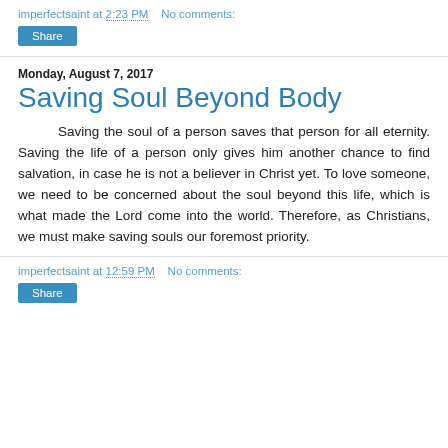imperfectsaint at 2:23 PM   No comments:
Share
Monday, August 7, 2017
Saving Soul Beyond Body
Saving the soul of a person saves that person for all eternity. Saving the life of a person only gives him another chance to find salvation, in case he is not a believer in Christ yet. To love someone, we need to be concerned about the soul beyond this life, which is what made the Lord come into the world. Therefore, as Christians, we must make saving souls our foremost priority.
imperfectsaint at 12:59 PM   No comments:
Share